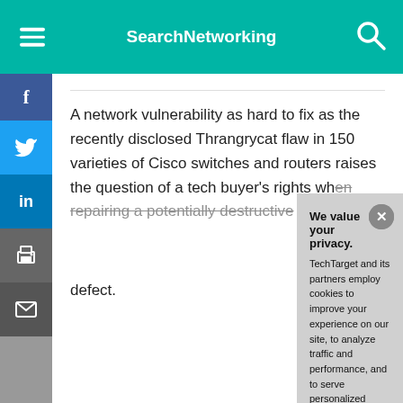SearchNetworking
A network vulnerability as hard to fix as the recently disclosed Thrangrycat flaw in 150 varieties of Cisco switches and routers raises the question of a tech buyer's rights when repairing a potentially destructive defect.
We value your privacy.
TechTarget and its partners employ cookies to improve your experience on our site, to analyze traffic and performance, and to serve personalized content and advertising that are relevant to your professional interests. You can manage your settings at any time. Please view our Privacy Policy for more information